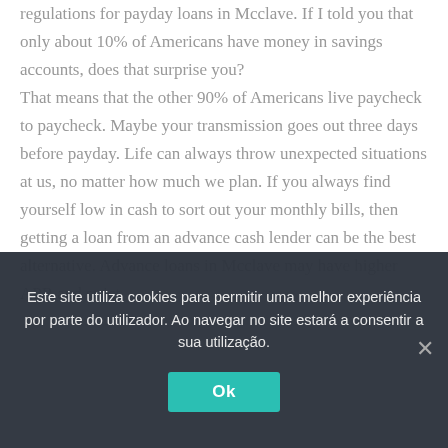regulations for payday loans in Mcclave. If I told you that only about 10% of Americans have money in savings accounts, does that surprise you?
That means that the other 90% of Americans live paycheck to paycheck. Maybe your transmission goes out three days before payday. Life can always throw unexpected situations at us, no matter how much we plan. If you always find yourself low in cash to sort out your monthly bills, then getting a loan from an advance cash lender can be the best alternative. Advance loans in Mcclave may have higher APR and strict
Este site utiliza cookies para permitir uma melhor experiência por parte do utilizador. Ao navegar no site estará a consentir a sua utilização.